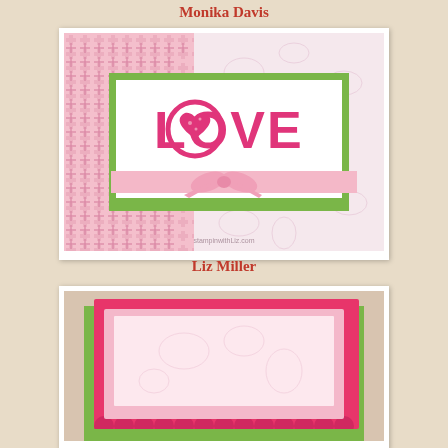Monika Davis
[Figure (photo): Handmade LOVE greeting card with pink embossed background, green mat, white card front with pink LOVE letters, pink ribbon bow, on pink base]
Liz Miller
[Figure (photo): Partially visible handmade card with pink and green layers, scalloped edge border]